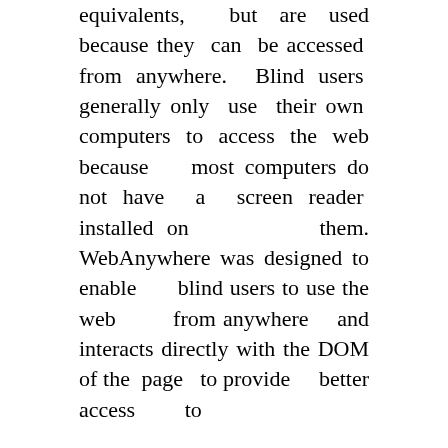equivalents, but are used because they can be accessed from anywhere. Blind users generally only use their own computers to access the web because most computers do not have a screen reader installed on them. WebAnywhere was designed to enable blind users to use the web from anywhere and interacts directly with the DOM of the page to provide better access to